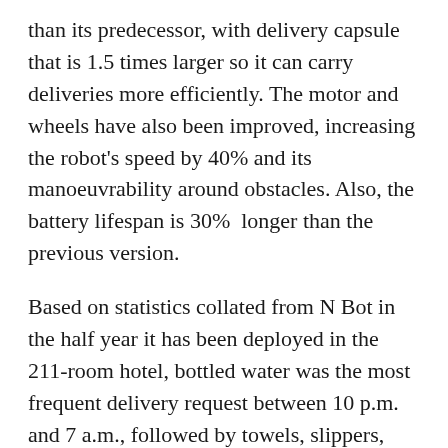than its predecessor, with delivery capsule that is 1.5 times larger so it can carry deliveries more efficiently. The motor and wheels have also been improved, increasing the robot's speed by 40% and its manoeuvrability around obstacles. Also, the battery lifespan is 30%  longer than the previous version.
Based on statistics collated from N Bot in the half year it has been deployed in the 211-room hotel, bottled water was the most frequent delivery request between 10 p.m. and 7 a.m., followed by towels, slippers, tooth brushes, shampoos and body cleansers. Most of those deliveries were before midnight with guests saying they appreciated avoiding in-person room service late at night.
N Bot makes in-room deliveries at guests' voice command or via touch screen orders. Linked to an AI